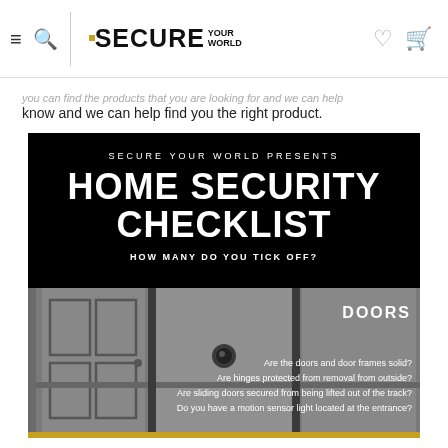SECURE YOUR WORLD
know and we can help find you the right product.
[Figure (infographic): Home Security Checklist infographic by Secure Your World. Black background header with title 'HOME SECURITY CHECKLIST' and subtitle 'HOW MANY DO YOU TICK OFF?'. Lower section shows door imagery in grey with 'DOORS' section listing: Are the doors and door frames solid? Are hinges protected from removal from outside? Are sliding doors secured from being lifted out of the track? Do you have a motion sensor light located at the entrance?]